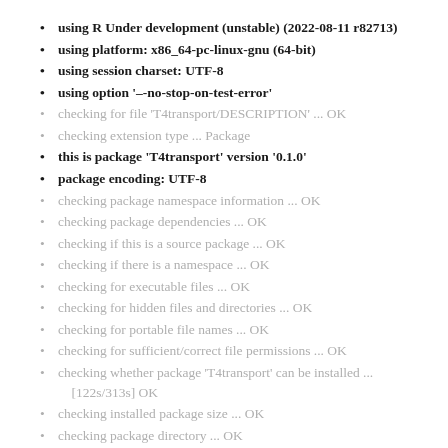using R Under development (unstable) (2022-08-11 r82713)
using platform: x86_64-pc-linux-gnu (64-bit)
using session charset: UTF-8
using option '–-no-stop-on-test-error'
checking for file 'T4transport/DESCRIPTION' ... OK
checking extension type ... Package
this is package 'T4transport' version '0.1.0'
package encoding: UTF-8
checking package namespace information ... OK
checking package dependencies ... OK
checking if this is a source package ... OK
checking if there is a namespace ... OK
checking for executable files ... OK
checking for hidden files and directories ... OK
checking for portable file names ... OK
checking for sufficient/correct file permissions ... OK
checking whether package 'T4transport' can be installed ... [122s/313s] OK
checking installed package size ... OK
checking package directory ... OK
checking DESCRIPTION meta-information ... OK
checking top-level files ... OK
checking for left-over files ... OK
checking index information ... OK